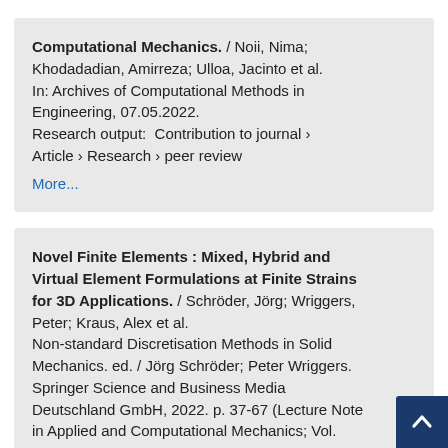Computational Mechanics. / Noii, Nima; Khodadadian, Amirreza; Ulloa, Jacinto et al. In: Archives of Computational Methods in Engineering, 07.05.2022. Research output:  Contribution to journal › Article › Research › peer review
More...
Novel Finite Elements : Mixed, Hybrid and Virtual Element Formulations at Finite Strains for 3D Applications. / Schröder, Jörg; Wriggers, Peter; Kraus, Alex et al. Non-standard Discretisation Methods in Solid Mechanics. ed. / Jörg Schröder; Peter Wriggers. Springer Science and Business Media Deutschland GmbH, 2022. p. 37-67 (Lecture Notes in Applied and Computational Mechanics; Vol.